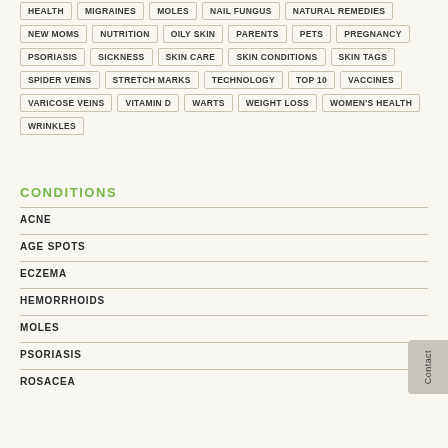HEALTH
MIGRAINES
MOLES
NAIL FUNGUS
NATURAL REMEDIES
NEW MOMS
NUTRITION
OILY SKIN
PARENTS
PETS
PREGNANCY
PSORIASIS
SICKNESS
SKIN CARE
SKIN CONDITIONS
SKIN TAGS
SPIDER VEINS
STRETCH MARKS
TECHNOLOGY
TOP 10
VACCINES
VARICOSE VEINS
VITAMIN D
WARTS
WEIGHT LOSS
WOMEN'S HEALTH
WRINKLES
CONDITIONS
ACNE
AGE SPOTS
ECZEMA
HEMORRHOIDS
MOLES
PSORIASIS
ROSACEA